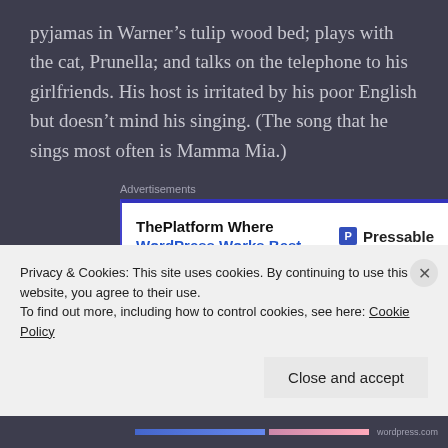pyjamas in Warner’s tulip wood bed; plays with the cat, Prunella; and talks on the telephone to his girlfriends. His host is irritated by his poor English but doesn’t mind his singing. (The song that he sings most often is Mamma Mia.)
[Figure (screenshot): Advertisement banner: ThePlatform Where WordPress Works Best, Pressable logo]
Warner’s detailed – too detailed to be fabricated – account, which was published in the early Twenties,
Privacy & Cookies: This site uses cookies. By continuing to use this website, you agree to their use.
To find out more, including how to control cookies, see here: Cookie Policy
Close and accept